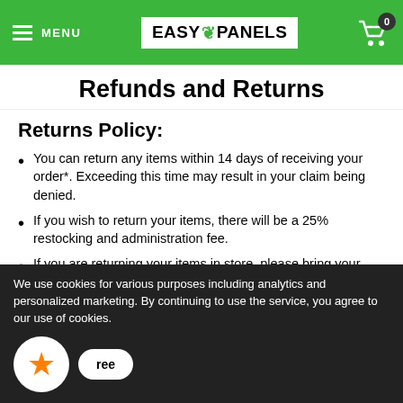MENU | EASY PANELS | 0
Refunds and Returns
Returns Policy:
You can return any items within 14 days of receiving your order*. Exceeding this time may result in your claim being denied.
If you wish to return your items, there will be a 25% restocking and administration fee.
If you are returning your items in store, please bring your receipt or sales invoice with you as proof of purchase.
We use cookies for various purposes including analytics and personalized marketing. By continuing to use the service, you agree to our use of cookies.